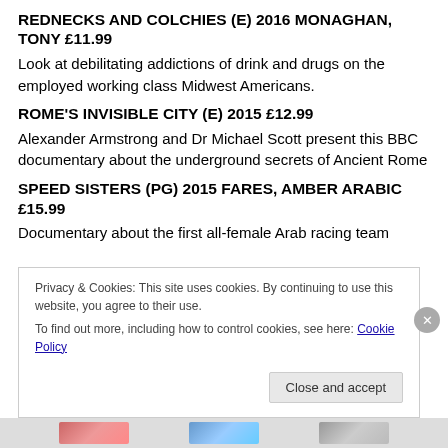REDNECKS AND COLCHIES (E) 2016 MONAGHAN, TONY £11.99
Look at debilitating addictions of drink and drugs on the employed working class Midwest Americans.
ROME'S INVISIBLE CITY (E) 2015 £12.99
Alexander Armstrong and Dr Michael Scott present this BBC documentary about the underground secrets of Ancient Rome
SPEED SISTERS (PG) 2015 FARES, AMBER ARABIC £15.99
Documentary about the first all-female Arab racing team
Privacy & Cookies: This site uses cookies. By continuing to use this website, you agree to their use.
To find out more, including how to control cookies, see here: Cookie Policy